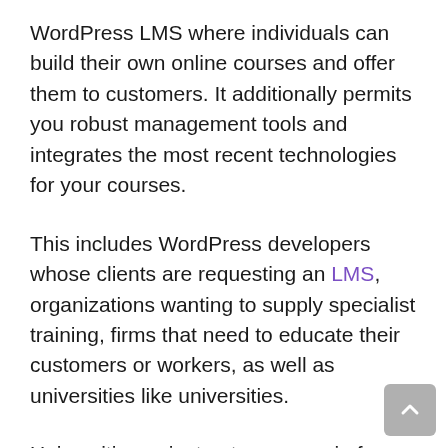WordPress LMS where individuals can build their own online courses and offer them to customers. It additionally permits you robust management tools and integrates the most recent technologies for your courses.
This includes WordPress developers whose clients are requesting an LMS, organizations wanting to supply specialist training, firms that need to educate their customers or workers, as well as universities like universities.
Universities or instructors can gain from using LearnDash's durable collection of tools to craft courses custom-made for